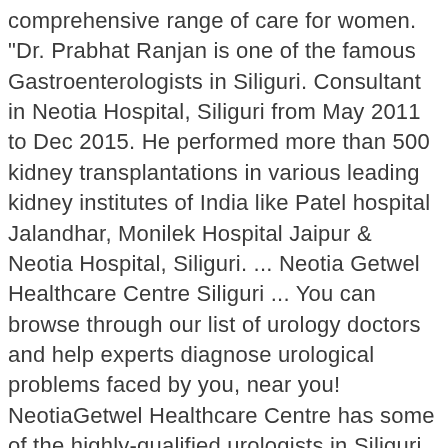comprehensive range of care for women. "Dr. Prabhat Ranjan is one of the famous Gastroenterologists in Siliguri. Consultant in Neotia Hospital, Siliguri from May 2011 to Dec 2015. He performed more than 500 kidney transplantations in various leading kidney institutes of India like Patel hospital Jalandhar, Monilek Hospital Jaipur & Neotia Hospital, Siliguri. ... Neotia Getwel Healthcare Centre Siliguri ... You can browse through our list of urology doctors and help experts diagnose urological problems faced by you, near you! NeotiaGetwel Healthcare Centre has some of the highly-qualified urologists in Siliguri. "> Banaras Hindu University Varanasi. Neotia Getwel Healthcare Centre is the first healthcare initiative of Ambuja Neotia Group in the North Bengal region. 2. Urologists specialize in disorders of the male and female urinary tracts and the male genital tract using endoscopic surgery to diagnose and treat conditions of the urinary tract, prostate and bladder. He studied at the Institute of Kidney Diseases and Research Centre & Institute of Transplantation Sciences, Ahmedabad. At CareClues, we offer all